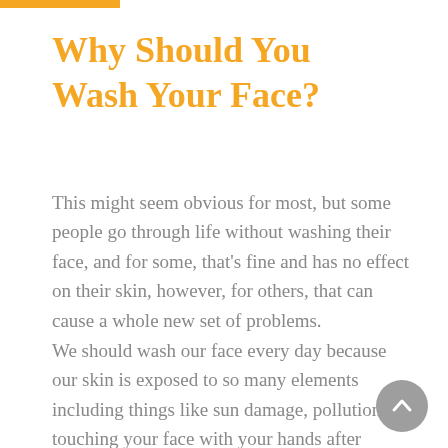Why Should You Wash Your Face?
This might seem obvious for most, but some people go through life without washing their face, and for some, that's fine and has no effect on their skin, however, for others, that can cause a whole new set of problems.
We should wash our face every day because our skin is exposed to so many elements including things like sun damage, pollution, touching your face with your hands after touching dirty surfaces,